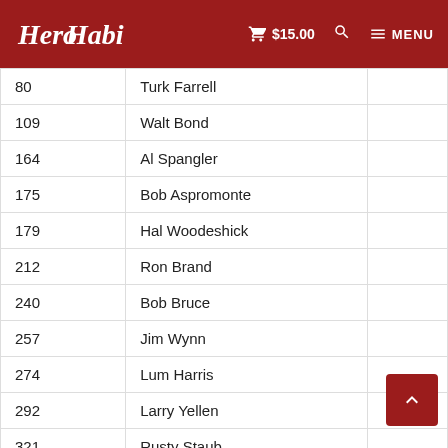HeroHabit — $15.00 — MENU
| # | Name |  |
| --- | --- | --- |
| 80 | Turk Farrell |  |
| 109 | Walt Bond |  |
| 164 | Al Spangler |  |
| 175 | Bob Aspromonte |  |
| 179 | Hal Woodeshick |  |
| 212 | Ron Brand |  |
| 240 | Bob Bruce |  |
| 257 | Jim Wynn |  |
| 274 | Lum Harris |  |
| 292 | Larry Yellen |  |
| 321 | Rusty Staub |  |